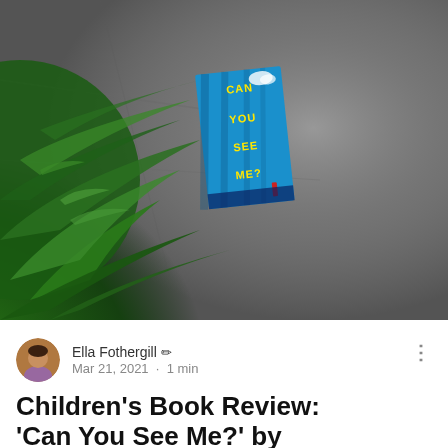[Figure (photo): A book titled 'Can You See Me?' with a blue cover featuring shadow patterns, resting on a stone surface surrounded by green ferns.]
Ella Fothergill ✏ Mar 21, 2021 · 1 min
Children's Book Review: 'Can You See Me?' by